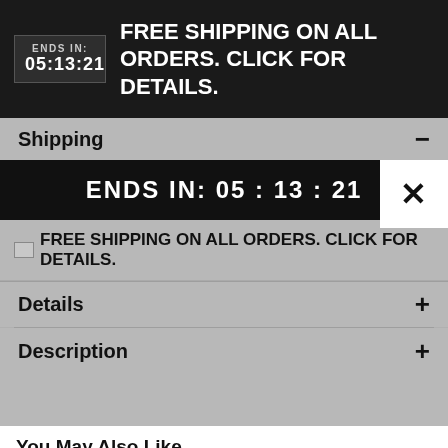[Figure (screenshot): Top black banner with countdown timer showing ENDS IN: 05:13:21 and text FREE SHIPPING ON ALL ORDERS. CLICK FOR DETAILS.]
Shipping −
ENDS IN: 05 : 13 : 21
FREE SHIPPING ON ALL ORDERS. CLICK FOR DETAILS.
Details +
Description +
You May Also Like
[Figure (photo): Women's Seattle Seahawks 12s College Navy Nike product thumbnail]
[Figure (photo): Women's Nike Tyler Lockett White Seattle Seahawks product thumbnail]
[Figure (photo): Women's Seahawks Wilson Nik product thumbnail]
Women's Seattle Seahawks 12s College Navy Nike
Women's Nike Tyler Lockett White Seattle Seahawks
Women' Seahawks Wilson Nik